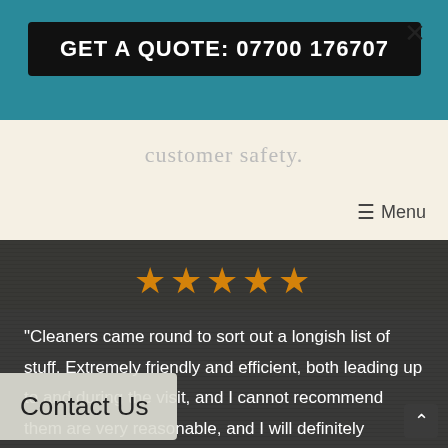GET A QUOTE: 07700 176707
customer safety.
≡  Menu
[Figure (other): Five gold star rating icons in a row]
"Cleaners came round to sort out a longish list of stuff. Extremely friendly and efficient, both leading up to and during the visit, and I cannot recommend them are very reasonable, and I will definitely
Contact Us